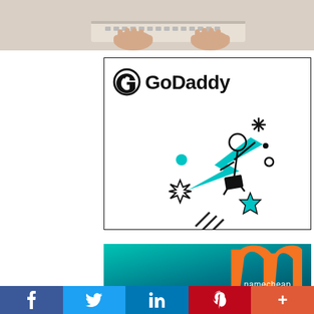[Figure (photo): Partial view of hands typing on a laptop keyboard, top portion cropped]
[Figure (logo): GoDaddy advertisement box with GoDaddy logo (circle-G icon and text) and illustration of a person riding a large teal arrow upward with stars and sparkles around them]
[Figure (logo): Namecheap advertisement banner with teal/dark gradient background and orange Namecheap logo (stylized N) with namecheap text]
[Figure (infographic): Social media sharing bar with Facebook (f), Twitter bird, LinkedIn (in), Pinterest (P), and more (+) buttons]